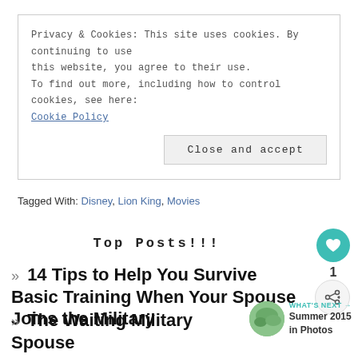Privacy & Cookies: This site uses cookies. By continuing to use this website, you agree to their use.
To find out more, including how to control cookies, see here:
Cookie Policy
Close and accept
Tagged With: Disney, Lion King, Movies
Top Posts!!!
14 Tips to Help You Survive Basic Training When Your Spouse Joins the Military
The Waiting Military Spouse